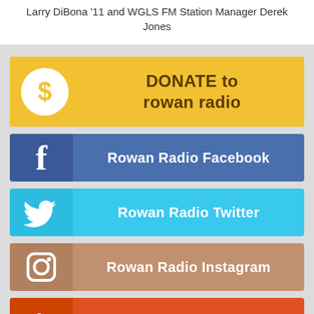Larry DiBona '11 and WGLS FM Station Manager Derek Jones
[Figure (infographic): Yellow donate button with dollar sign circle icon and text DONATE to rowan radio]
[Figure (infographic): Dark blue Facebook button with f icon and text Rowan Radio Facebook]
[Figure (infographic): Light blue Twitter button with bird icon and text Rowan Radio Twitter]
[Figure (infographic): Brown/tan Instagram button with camera icon and text Rowan Radio Instagram]
[Figure (infographic): Orange/red Soundcloud button with waveform icon and text Rowan Radio Soundcloud]